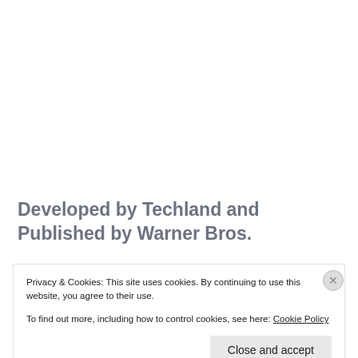Developed by Techland and Published by Warner Bros.
Privacy & Cookies: This site uses cookies. By continuing to use this website, you agree to their use.
To find out more, including how to control cookies, see here: Cookie Policy
Close and accept